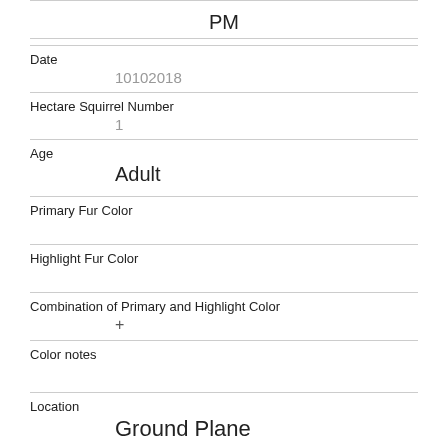| PM |
| Date | 10102018 |
| Hectare Squirrel Number | 1 |
| Age | Adult |
| Primary Fur Color |  |
| Highlight Fur Color |  |
| Combination of Primary and Highlight Color | + |
| Color notes |  |
| Location | Ground Plane |
| Above Ground Sighter Measurement | FALSE |
| Specific Location |  |